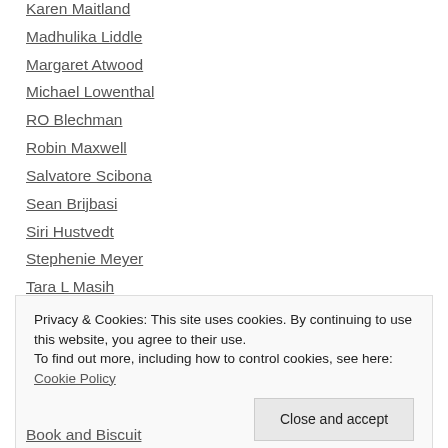Karen Maitland
Madhulika Liddle
Margaret Atwood
Michael Lowenthal
RO Blechman
Robin Maxwell
Salvatore Scibona
Sean Brijbasi
Siri Hustvedt
Stephenie Meyer
Tara L Masih
Zoran Zivkovic
Privacy & Cookies: This site uses cookies. By continuing to use this website, you agree to their use. To find out more, including how to control cookies, see here: Cookie Policy
Book and Biscuit